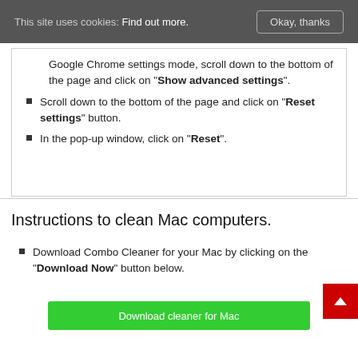This site uses cookies: Find out more.   Okay, thanks
Google Chrome settings mode, scroll down to the bottom of the page and click on "Show advanced settings".
Scroll down to the bottom of the page and click on "Reset settings" button.
In the pop-up window, click on "Reset".
Instructions to clean Mac computers.
Download Combo Cleaner for your Mac by clicking on the "Download Now" button below.
[Figure (other): Green Download cleaner for Mac button]
[Figure (other): Red scroll-to-top button with white upward arrow]